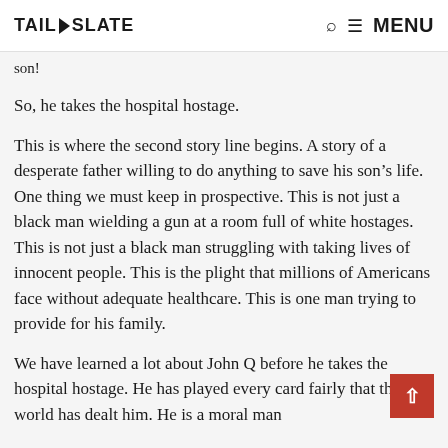TAIL SLATE  🔍 ≡ Menu
son!
So, he takes the hospital hostage.
This is where the second story line begins. A story of a desperate father willing to do anything to save his son's life. One thing we must keep in prospective. This is not just a black man wielding a gun at a room full of white hostages. This is not just a black man struggling with taking lives of innocent people. This is the plight that millions of Americans face without adequate healthcare. This is one man trying to provide for his family.
We have learned a lot about John Q before he takes the hospital hostage. He has played every card fairly that this world has dealt him. He is a moral man